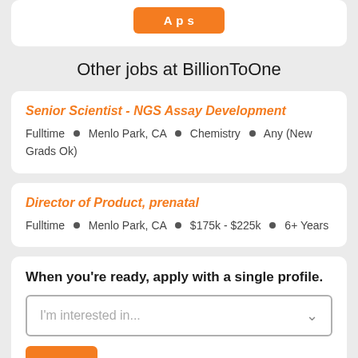[Figure (screenshot): Top card with orange apply button partially visible at top of page]
Other jobs at BillionToOne
Senior Scientist - NGS Assay Development
Fulltime • Menlo Park, CA • Chemistry • Any (New Grads Ok)
Director of Product, prenatal
Fulltime • Menlo Park, CA • $175k - $225k • 6+ Years
When you're ready, apply with a single profile.
I'm interested in...